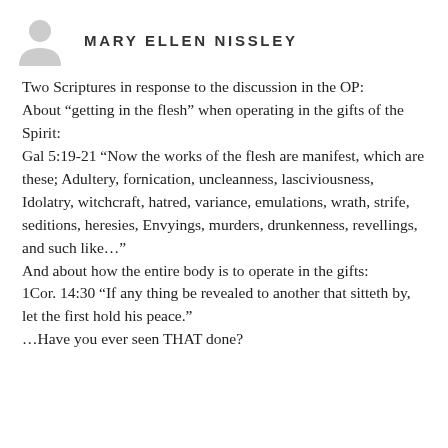MARY ELLEN NISSLEY
Two Scriptures in response to the discussion in the OP:
About “getting in the flesh” when operating in the gifts of the Spirit:
Gal 5:19-21 “Now the works of the flesh are manifest, which are these; Adultery, fornication, uncleanness, lasciviousness, Idolatry, witchcraft, hatred, variance, emulations, wrath, strife, seditions, heresies, Envyings, murders, drunkenness, revellings, and such like…”
And about how the entire body is to operate in the gifts:
1Cor. 14:30 “If any thing be revealed to another that sitteth by, let the first hold his peace.”
…Have you ever seen THAT done?